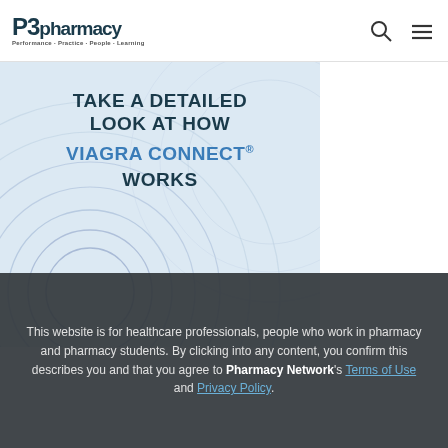P3pharmacy
[Figure (illustration): Promotional banner with light blue gradient background and decorative circular line patterns. Text reads: TAKE A DETAILED LOOK AT HOW VIAGRA CONNECT® WORKS]
This website is for healthcare professionals, people who work in pharmacy and pharmacy students. By clicking into any content, you confirm this describes you and that you agree to Pharmacy Network's Terms of Use and Privacy Policy.